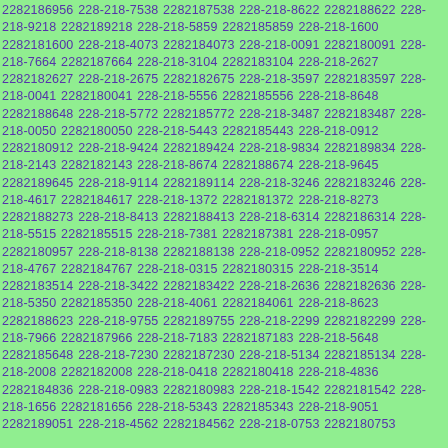2282186956 228-218-7538 2282187538 228-218-8622 2282188622 228-218-9218 2282189218 228-218-5859 2282185859 228-218-1600 2282181600 228-218-4073 2282184073 228-218-0091 2282180091 228-218-7664 2282187664 228-218-3104 2282183104 228-218-2627 2282182627 228-218-2675 2282182675 228-218-3597 2282183597 228-218-0041 2282180041 228-218-5556 2282185556 228-218-8648 2282188648 228-218-5772 2282185772 228-218-3487 2282183487 228-218-0050 2282180050 228-218-5443 2282185443 228-218-0912 2282180912 228-218-9424 2282189424 228-218-9834 2282189834 228-218-2143 2282182143 228-218-8674 2282188674 228-218-9645 2282189645 228-218-9114 2282189114 228-218-3246 2282183246 228-218-4617 2282184617 228-218-1372 2282181372 228-218-8273 2282188273 228-218-8413 2282188413 228-218-6314 2282186314 228-218-5515 2282185515 228-218-7381 2282187381 228-218-0957 2282180957 228-218-8138 2282188138 228-218-0952 2282180952 228-218-4767 2282184767 228-218-0315 2282180315 228-218-3514 2282183514 228-218-3422 2282183422 228-218-2636 2282182636 228-218-5350 2282185350 228-218-4061 2282184061 228-218-8623 2282188623 228-218-9755 2282189755 228-218-2299 2282182299 228-218-7966 2282187966 228-218-7183 2282187183 228-218-5648 2282185648 228-218-7230 2282187230 228-218-5134 2282185134 228-218-2008 2282182008 228-218-0418 2282180418 228-218-4836 2282184836 228-218-0983 2282180983 228-218-1542 2282181542 228-218-1656 2282181656 228-218-5343 2282185343 228-218-9051 2282189051 228-218-4562 2282184562 228-218-0753 2282180753